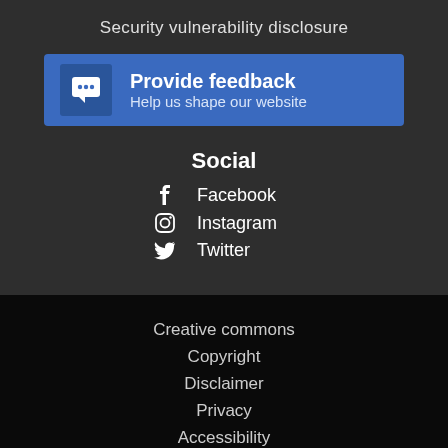Security vulnerability disclosure
[Figure (infographic): Feedback banner with chat icon, title 'Provide feedback' and subtitle 'Help us shape our website']
Social
Facebook
Instagram
Twitter
Creative commons
Copyright
Disclaimer
Privacy
Accessibility
Staff login